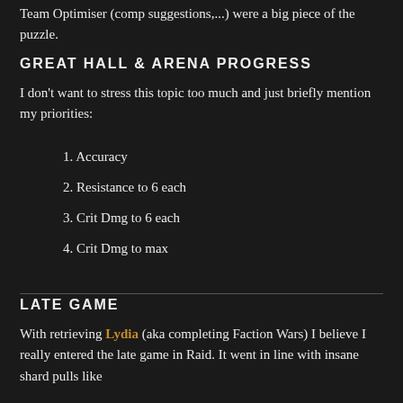Team Optimiser (comp suggestions,...) were a big piece of the puzzle.
GREAT HALL & ARENA PROGRESS
I don't want to stress this topic too much and just briefly mention my priorities:
1. Accuracy
2. Resistance to 6 each
3. Crit Dmg to 6 each
4. Crit Dmg to max
LATE GAME
With retrieving Lydia (aka completing Faction Wars) I believe I really entered the late game in Raid. It went in line with insane shard pulls like